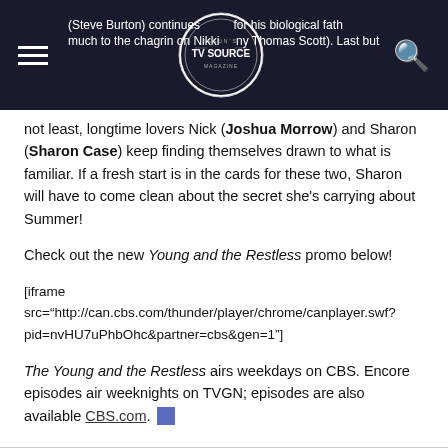TV Source Magazine navigation bar with hamburger menu, TV Source logo, and search icon
(Steve Burton) continues search for his biological father, much to the chagrin on Nikki (Melody Thomas Scott). Last but not least, longtime lovers Nick (Joshua Morrow) and Sharon (Sharon Case) keep finding themselves drawn to what is familiar. If a fresh start is in the cards for these two, Sharon will have to come clean about the secret she's carrying about Summer!
Check out the new Young and the Restless promo below!
[iframe src="http://can.cbs.com/thunder/player/chrome/canplayer.swf?pid=nvHU7uPhbOhc&partner=cbs&gen=1"]
The Young and the Restless airs weekdays on CBS. Encore episodes air weeknights on TVGN; episodes are also available CBS.com.